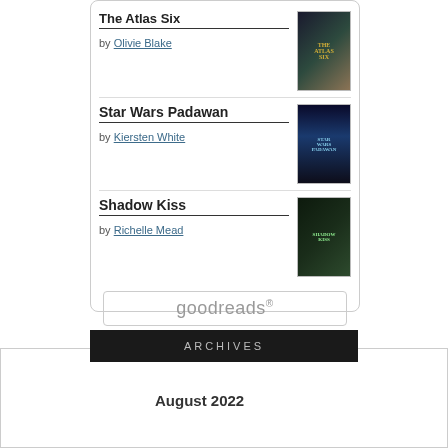[Figure (screenshot): Goodreads widget showing book list with three books: The Atlas Six by Olivie Blake, Star Wars Padawan by Kiersten White, Shadow Kiss by Richelle Mead, each with cover image. Below the list is a Goodreads logo button.]
ARCHIVES
August 2022